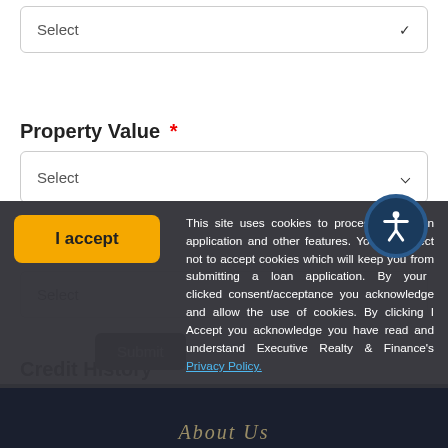[Figure (screenshot): First dropdown select box (partial, clipped at top of page)]
Property Value *
[Figure (screenshot): Property Value dropdown select box]
Loan Type *
[Figure (screenshot): Loan Type dropdown select box with accessibility icon]
Credit History *
I accept
This site uses cookies to process your loan application and other features. You may elect not to accept cookies which will keep you from submitting a loan application. By your clicked consent/acceptance you acknowledge and allow the use of cookies. By clicking I Accept you acknowledge you have read and understand Executive Realty & Finance's Privacy Policy.
Submit
About Us